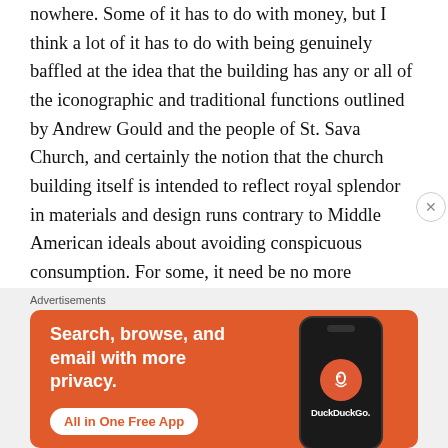nowhere. Some of it has to do with money, but I think a lot of it has to do with being genuinely baffled at the idea that the building has any or all of the iconographic and traditional functions outlined by Andrew Gould and the people of St. Sava Church, and certainly the notion that the church building itself is intended to reflect royal splendor in materials and design runs contrary to Middle American ideals about avoiding conspicuous consumption. For some, it need be no more complex than a practical question of space to be solved practically — build whatever size pole barn or brick box you can manage, and
[Figure (other): DuckDuckGo advertisement banner: orange background with text 'Search, browse, and email with more privacy. All in One Free App' and an image of a smartphone displaying the DuckDuckGo logo.]